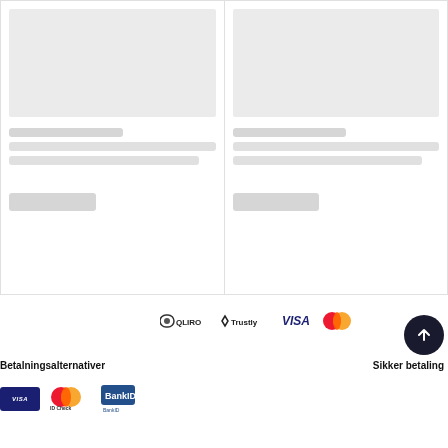[Figure (screenshot): Two product card skeletons/placeholders side by side showing loading state with gray placeholder rectangles for images, titles, text lines, and buttons]
Betalningsalternativer
Sikker betaling
[Figure (logo): Payment method logos: QLIRO, Trustly, VISA, Mastercard shown in a row]
[Figure (logo): Payment method logos bottom row: VISA, Mastercard ID Check, BankID]